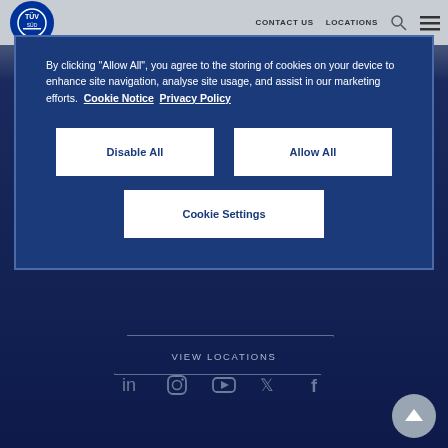TÜV SÜD | CONTACT US | LOCATIONS
By clicking "Allow All", you agree to the storing of cookies on your device to enhance site navigation, analyse site usage, and assist in our marketing efforts. Cookie Notice Privacy Policy
Disable All
Allow All
Cookie Settings
VIEW LOCATIONS
[Figure (screenshot): Social media icons: LinkedIn, Instagram, YouTube, Twitter, Facebook]